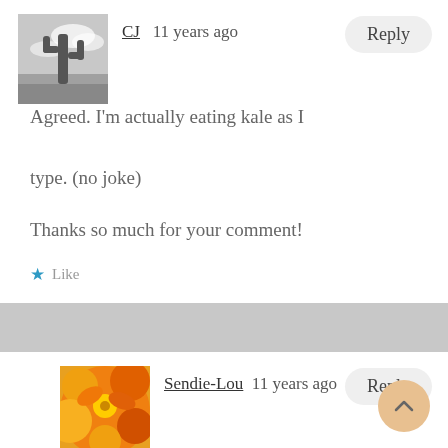[Figure (photo): Black and white photo of a cactus against a cloudy sky, used as avatar for user CJ]
CJ   11 years ago
Reply
Agreed. I'm actually eating kale as I type. (no joke)

Thanks so much for your comment!
★ Like
[Figure (photo): Photo of bright orange flowers, used as avatar for user Sendie-Lou]
Sendie-Lou   11 years ago
Reply
Looks delish & easy! Thanks for sharing. And love the title too! 🙂